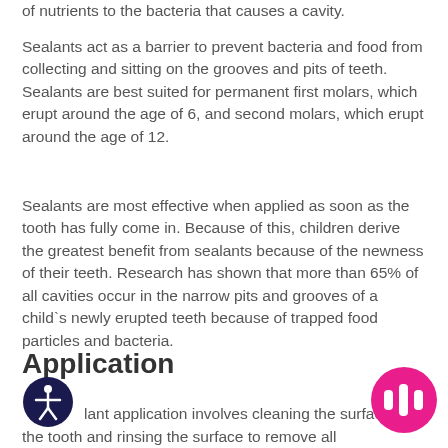of nutrients to the bacteria that causes a cavity.
Sealants act as a barrier to prevent bacteria and food from collecting and sitting on the grooves and pits of teeth. Sealants are best suited for permanent first molars, which erupt around the age of 6, and second molars, which erupt around the age of 12.
Sealants are most effective when applied as soon as the tooth has fully come in. Because of this, children derive the greatest benefit from sealants because of the newness of their teeth. Research has shown that more than 65% of all cavities occur in the narrow pits and grooves of a child`s newly erupted teeth because of trapped food particles and bacteria.
Application
lant application involves cleaning the surface of the tooth and rinsing the surface to remove all